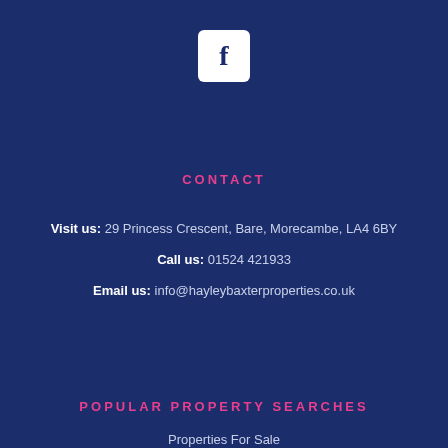[Figure (logo): Facebook icon - white rounded square with dark blue letter f]
CONTACT
Visit us: 29 Princess Crescent, Bare, Morecambe, LA4 6BY
Call us: 01524 421933
Email us: info@hayleybaxterproperties.co.uk
POPULAR PROPERTY SEARCHES
Properties For Sale